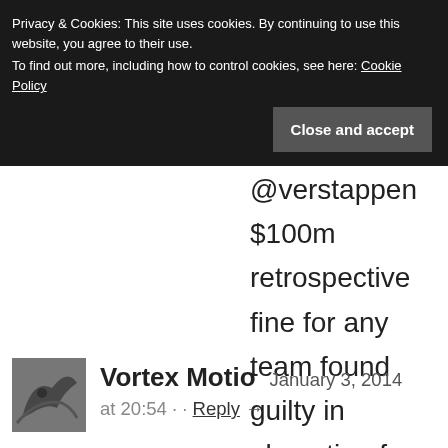Privacy & Cookies: This site uses cookies. By continuing to use this website, you agree to their use.
To find out more, including how to control cookies, see here: Cookie Policy
Close and accept
@verstappen $100m retrospective fine for any team found guilty in absentia of leaking that video!
Vortex Motio   January 3, 2014 at 20:54 · ·  Reply →